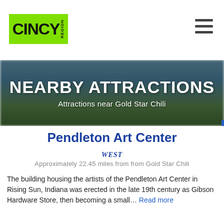CINCY REGION
[Figure (photo): Outdoor venue or park scene with green and blue sky, used as banner background]
NEARBY ATTRACTIONS
Attractions near Gold Star Chili
Pendleton Art Center
WEST
Approximately 22.45 miles from from Gold Star Chili
The building housing the artists of the Pendleton Art Center in Rising Sun, Indiana was erected in the late 19th century as Gibson Hardware Store, then becoming a small... Read more